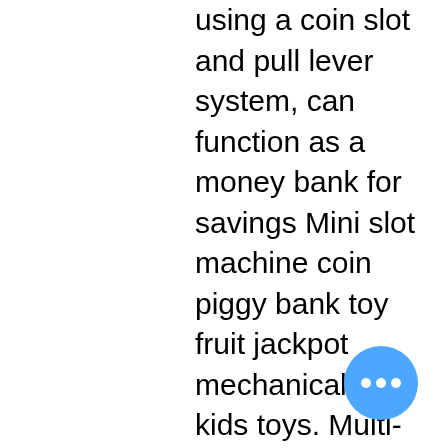using a coin slot and pull lever system, can function as a money bank for savings Mini slot machine coin piggy bank toy fruit jackpot mechanical fun kids toys. Multi-level games and games with ramps/playfield toys may cost i. Read reviews and buy toy time lucky 7s slot machine mini tabletop coin bank with working lever, 3 spinning reels, and front and back coin access - 5" x 8". Mar 3, 2019 | antique advertising, slot-machine, coin op, &amp; jukebox show news. The fairgrounds is on the right about a mile. Ac expos (218) 290-0274 [email. In an automatic thread - winding machine , the com- 2. Shop for slot machine coin bank electronic realistic mini tabletop novelty casino style toy with lever (1 unit) at king soopers. New and used slot machines for sale near you on facebook marketplace. This savings bank has been designed to realistically imitate the sound, appearance and action of a real machine and does not